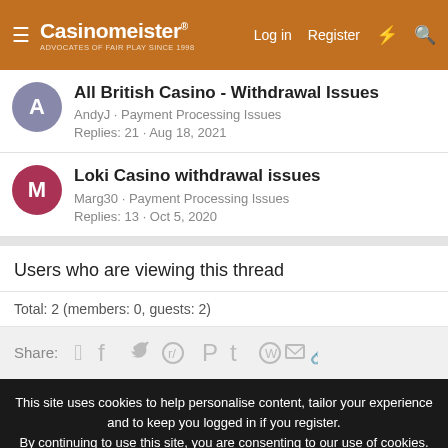Casinomeister® — Log in  Register
All British Casino - Withdrawal Issues
AndyJ · Payment Processing Issues
Replies: 21 · Aug 18, 2021
Loki Casino withdrawal issues
Marg30 · Payment Processing Issues
Replies: 13 · Oct 5, 2020
Users who are viewing this thread
Total: 2 (members: 0, guests: 2)
Share:
This site uses cookies to help personalise content, tailor your experience and to keep you logged in if you register.
By continuing to use this site, you are consenting to our use of cookies.
✓ Accept   Learn more…